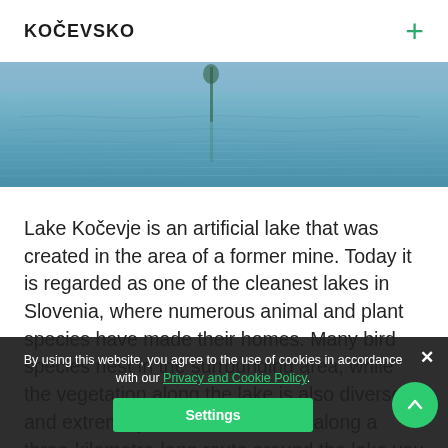KOČEVSKO
[Figure (photo): Aerial or wide view of Lake Kočevje showing calm blue water surface with reflections, taken from above.]
Lake Kočevje is an artificial lake that was created in the area of a former mine. Today it is regarded as one of the cleanest lakes in Slovenia, where numerous animal and plant species have made their homes. Many bird species nest in the surrounding area, while the vegetation along the lake is also diverse and extremely rich. You can walk along a three-kilometre-long route around the lake you will be able to see the beauty of the landscape and maybe come to
By using this website, you agree to the use of cookies in accordance with our Privacy and Cookie Policy.
Settings